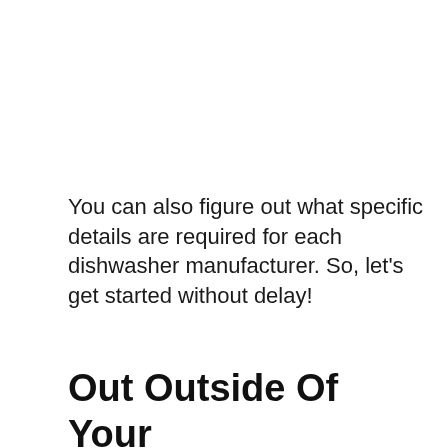You can also figure out what specific details are required for each dishwasher manufacturer. So, let's get started without delay!
Out Outside Of Your